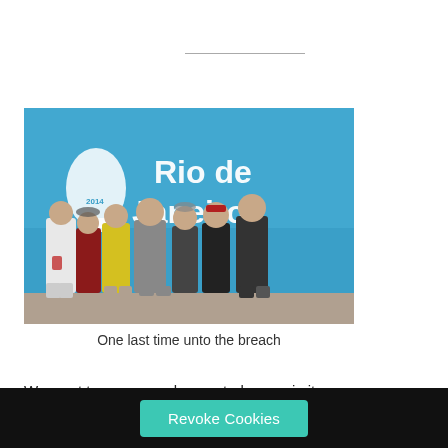[Figure (photo): Group of people posing in front of a blue FIFA World Cup Rio de Janeiro banner/wall]
One last time unto the breach
We went to our second game today, again it was
[Figure (other): Revoke Cookies button in black cookie consent bar]